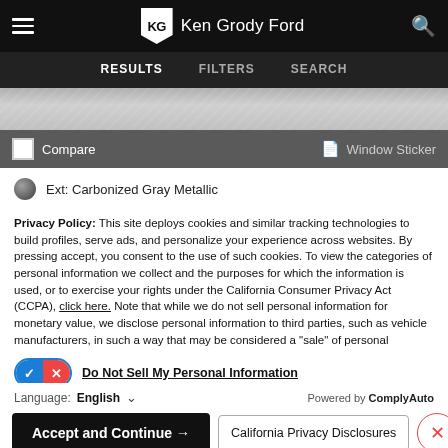Ken Grody Ford — navigation bar with hamburger menu, logo, search icon
RESULTS   FILTERS   SEARCH
[Figure (screenshot): Partial car image strip showing a gray metallic vehicle surface]
Compare   Window Sticker
Ext: Carbonized Gray Metallic
Privacy Policy: This site deploys cookies and similar tracking technologies to build profiles, serve ads, and personalize your experience across websites. By pressing accept, you consent to the use of such cookies. To view the categories of personal information we collect and the purposes for which the information is used, or to exercise your rights under the California Consumer Privacy Act (CCPA), click here. Note that while we do not sell personal information for monetary value, we disclose personal information to third parties, such as vehicle manufacturers, in such a way that may be considered a "sale" of personal information under the CCPA. To direct us to stop the sale of your personal information, or to re-access these settings or disclosures at anytime, click the following icon or link:
Do Not Sell My Personal Information
Language: English   Powered by ComplyAuto
Accept and Continue →   California Privacy Disclosures